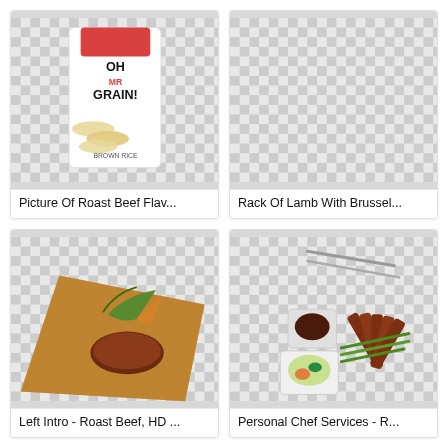[Figure (photo): Photo of Oh Mr Grain! rice cracker product bag with brown rice crackers spilling out]
Picture Of Roast Beef Flav...
[Figure (photo): Empty checkerboard transparent background placeholder for Rack Of Lamb image]
Rack Of Lamb With Brussel...
[Figure (photo): Photo of a raw beef tartare dish on a wooden board with garnishes]
Left Intro - Roast Beef, HD ...
[Figure (photo): Photo of sliced roast beef with green beans, a sauce cup, and a salad on white plates with cutlery]
Personal Chef Services - R...